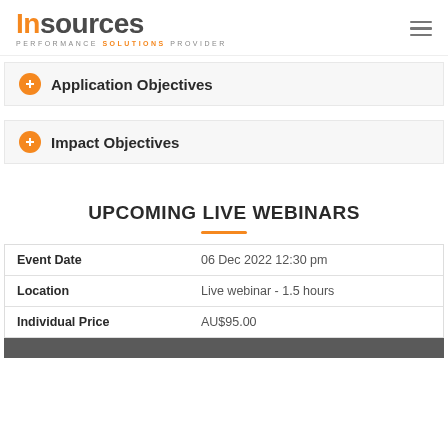Insources - Performance Solutions Provider
Application Objectives
Impact Objectives
UPCOMING LIVE WEBINARS
|  |  |
| --- | --- |
| Event Date | 06 Dec 2022 12:30 pm |
| Location | Live webinar - 1.5 hours |
| Individual Price | AU$95.00 |